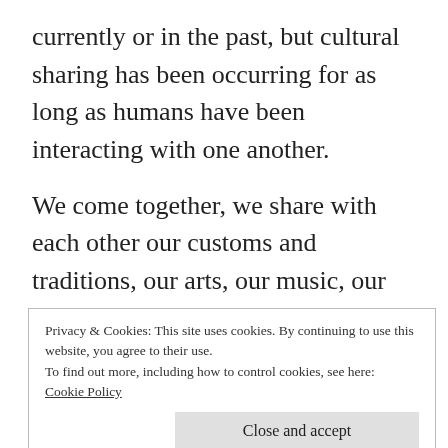currently or in the past, but cultural sharing has been occurring for as long as humans have been interacting with one another.
We come together, we share with each other our customs and traditions, our arts, our music, our dance. Watching a dance find its way onto the world stage where all races and ethnicities want to participate is a beautiful thing. Ballet, Latin dance, hip hop,
Privacy & Cookies: This site uses cookies. By continuing to use this website, you agree to their use.
To find out more, including how to control cookies, see here:
Cookie Policy
Close and accept
regardless of what shade of paper my skin is.